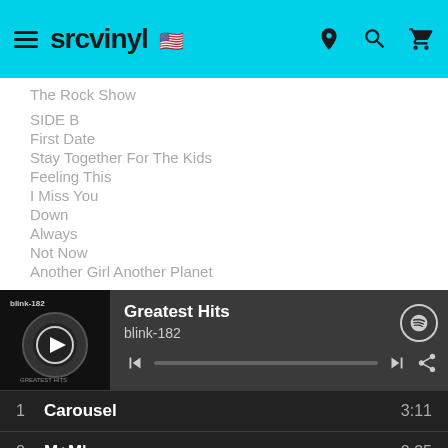srcvinyl
The Rock Show
SIDE B
First Date
Stay Together For The Kids
Feeling This
I Miss You
Down
Always
Not Now
Another Girl Another Planet
[Figure (screenshot): Spotify-style music player showing Greatest Hits by blink-182 with album art, playback controls, and a tracklist showing Carousel 3:11, M+M's 2:35, Dammit 2:46]